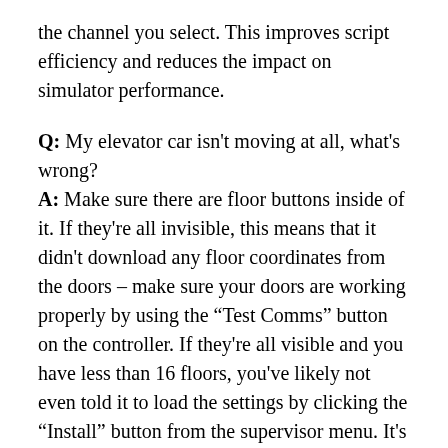the channel you select. This improves script efficiency and reduces the impact on simulator performance.
Q: My elevator car isn't moving at all, what's wrong?
A: Make sure there are floor buttons inside of it. If they're all invisible, this means that it didn't download any floor coordinates from the doors – make sure your doors are working properly by using the "Test Comms" button on the controller. If they're all visible and you have less than 16 floors, you've likely not even told it to load the settings by clicking the "Install" button from the supervisor menu. It's VERY common that the elevator car is obstructed by